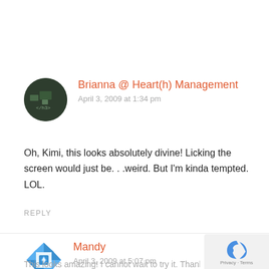[Figure (photo): Circular avatar photo of Brianna, dark background with circuit-like pattern]
Brianna @ Heart(h) Management
April 3, 2009 at 1:34 pm
Oh, Kimi, this looks absolutely divine! Licking the screen would just be. . .weird. But I'm kinda tempted. LOL.
REPLY
[Figure (illustration): Circular avatar with blue geometric/quilt pattern for Mandy]
Mandy
April 3, 2009 at 5:07 pm
This looks amazing! I cannot wait to try it. Thank...